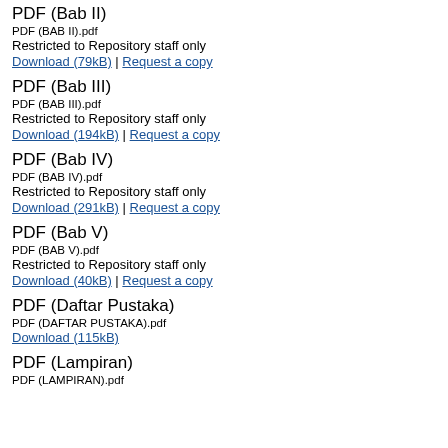PDF (Bab II)
PDF (BAB II).pdf
Restricted to Repository staff only
Download (79kB) | Request a copy
PDF (Bab III)
PDF (BAB III).pdf
Restricted to Repository staff only
Download (194kB) | Request a copy
PDF (Bab IV)
PDF (BAB IV).pdf
Restricted to Repository staff only
Download (291kB) | Request a copy
PDF (Bab V)
PDF (BAB V).pdf
Restricted to Repository staff only
Download (40kB) | Request a copy
PDF (Daftar Pustaka)
PDF (DAFTAR PUSTAKA).pdf
Download (115kB)
PDF (Lampiran)
PDF (LAMPIRAN).pdf